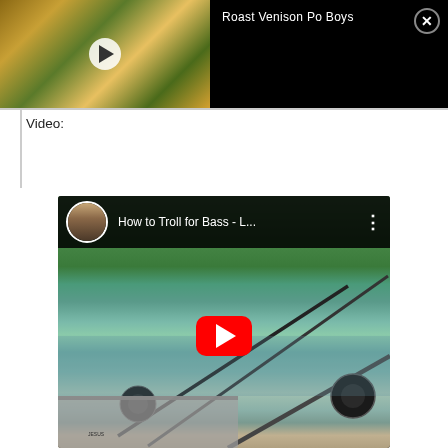[Figure (screenshot): Top video bar showing a food video thumbnail (sandwich/po boy) with play button, title 'Roast Venison Po Boys' in white text on black background, and a close (X) circle button]
Video:
[Figure (screenshot): YouTube embedded video showing 'How to Troll for Bass - L...' with a person avatar, three-dot menu, scene of fishing rods on a boat on a lake with trees in background, and a red YouTube play button in the center]